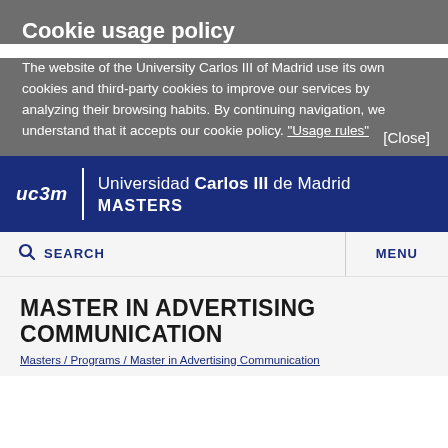Cookie usage policy
The website of the University Carlos III of Madrid use its own cookies and third-party cookies to improve our services by analyzing their browsing habits. By continuing navigation, we understand that it accepts our cookie policy. "Usage rules"
[Close]
[Figure (logo): uc3m logo with Universidad Carlos III de Madrid MASTERS header on dark blue background]
SEARCH
MENU
MASTER IN ADVERTISING COMMUNICATION
Masters / Programs / Master in Advertising Communication